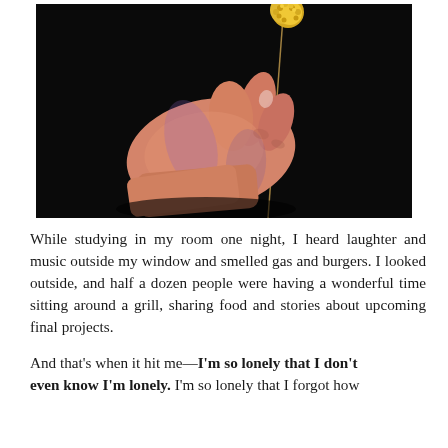[Figure (photo): A hand holding a thin dried flower stem with a small yellow pom-pom head, set against a black background. The hand is lit with warm pink/purple tones.]
While studying in my room one night, I heard laughter and music outside my window and smelled gas and burgers. I looked outside, and half a dozen people were having a wonderful time sitting around a grill, sharing food and stories about upcoming final projects.
And that's when it hit me—I'm so lonely that I don't even know I'm lonely. I'm so lonely that I forgot how